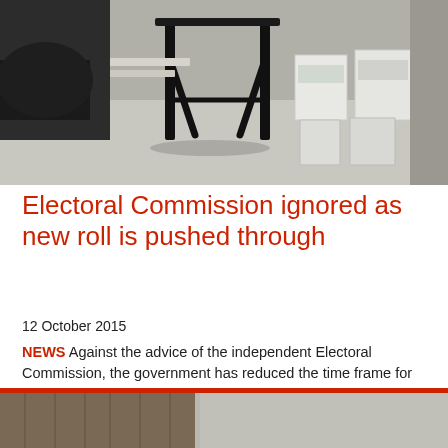[Figure (photo): Indoor scene showing folding tables with white ballot boxes and bags, a black metal folding table stand visible in the center foreground, on a grey floor.]
Electoral Commission ignored as new roll is pushed through
12 October 2015
NEWS Against the advice of the independent Electoral Commission, the government has reduced the time frame for establishing the new electoral roll. The move is likely to reduce the number of voters in non-Conservative areas.
[Figure (photo): Partial view of an outdoor scene showing a wooden fence or wall structure on the left and a street lamp silhouette on the right, with a red horizontal bar at the top edge.]